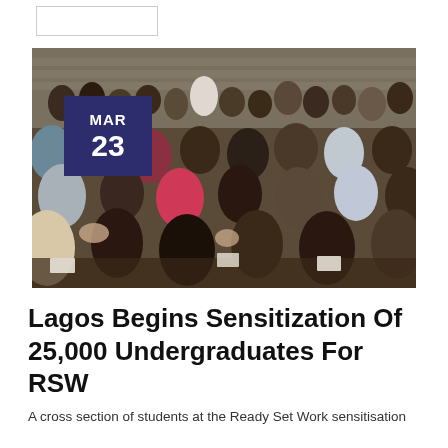[Figure (photo): A large crowd of students seated and standing in a hall, attending the Ready Set Work sensitisation event in Lagos. A date badge showing MAR 23 appears in the top-left corner of the image.]
Lagos Begins Sensitization Of 25,000 Undergraduates For RSW
A cross section of students at the Ready Set Work sensitisation